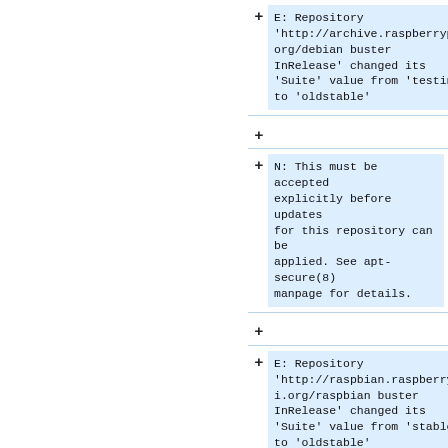E: Repository 'http://archive.raspberrypi.org/debian buster InRelease' changed its 'Suite' value from 'testing' to 'oldstable'
+
N: This must be accepted explicitly before updates for this repository can be applied. See apt-secure(8) manpage for details.
+
E: Repository 'http://raspbian.raspberrypi.org/raspbian buster InRelease' changed its 'Suite' value from 'stable' to 'oldstable'
+